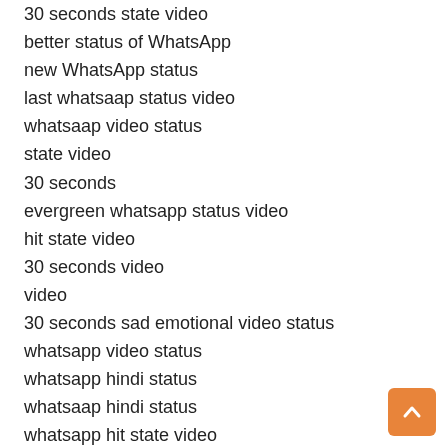30 seconds state video
better status of WhatsApp
new WhatsApp status
last whatsaap status video
whatsaap video status
state video
30 seconds
evergreen whatsapp status video
hit state video
30 seconds video
video
30 seconds sad emotional video status
whatsapp video status
whatsapp hindi status
whatsaap hindi status
whatsapp hit state video
tamil whatsapp status
Whatsapp status Punjabi
Rajasthani whatsapp video status
whatsaap video status
whatsapp video status love